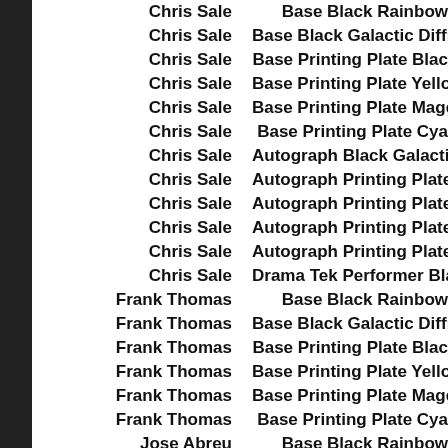| Player | Card Type |
| --- | --- |
| Chris Sale | Base Black Rainbow |
| Chris Sale | Base Black Galactic Diffra… |
| Chris Sale | Base Printing Plate Blac… |
| Chris Sale | Base Printing Plate Yello… |
| Chris Sale | Base Printing Plate Mage… |
| Chris Sale | Base Printing Plate Cya… |
| Chris Sale | Autograph Black Galactic Dif… |
| Chris Sale | Autograph Printing Plate B… |
| Chris Sale | Autograph Printing Plate Ye… |
| Chris Sale | Autograph Printing Plate Ma… |
| Chris Sale | Autograph Printing Plate C… |
| Chris Sale | Drama Tek Performer Black Galac… |
| Frank Thomas | Base Black Rainbow |
| Frank Thomas | Base Black Galactic Diffra… |
| Frank Thomas | Base Printing Plate Blac… |
| Frank Thomas | Base Printing Plate Yello… |
| Frank Thomas | Base Printing Plate Mage… |
| Frank Thomas | Base Printing Plate Cya… |
| Jose Abreu | Base Black Rainbow |
| Jose Abreu | Base Black Galactic Diffra… |
| Jose Abreu | Base Printing Plate Blac… |
| Jose Abreu | Base Printing Plate Yello… |
| Jose Abreu | Base Printing Plate Mage… |